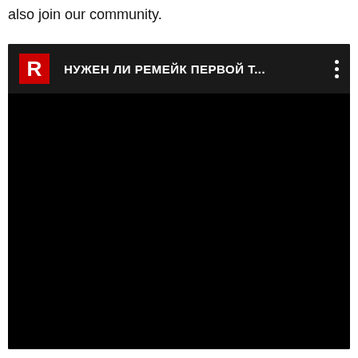also join our community.
[Figure (screenshot): A dark/black video player interface showing a Russian-language video title 'НУЖЕН ЛИ РЕМЕЙК ПЕРВОЙ Т...' with a red 'R' logo icon on the left and a three-dot menu icon on the right. The main area of the player is entirely black.]